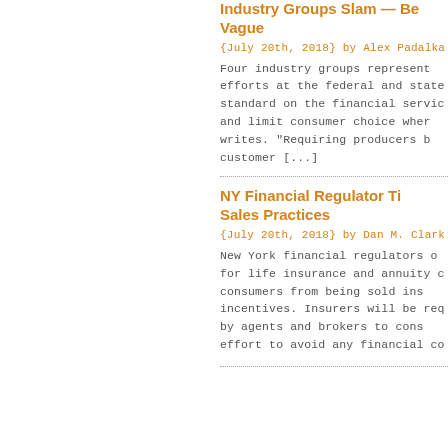Industry Groups Slam — Be Vague
{July 20th, 2018} by Alex Padalka
Four industry groups represent efforts at the federal and state standard on the financial servic and limit consumer choice wher writes. "Requiring producers b customer [...]
NY Financial Regulator Ti Sales Practices
{July 20th, 2018} by Dan M. Clark
New York financial regulators o for life insurance and annuity c consumers from being sold ins incentives. Insurers will be req by agents and brokers to cons effort to avoid any financial co